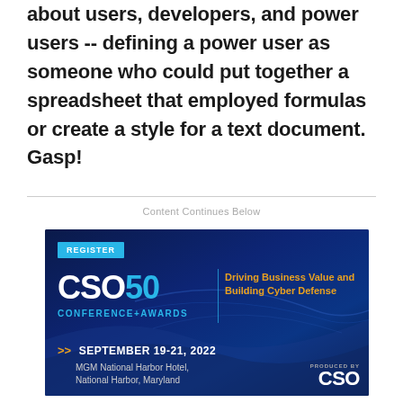about users, developers, and power users -- defining a power user as someone who could put together a spreadsheet that employed formulas or create a style for a text document. Gasp!
Content Continues Below
[Figure (infographic): CSO50 Conference+Awards advertisement banner. Dark blue background with wave design. Register button in blue. CSO50 Conference+Awards logo. Tagline: Driving Business Value and Building Cyber Defense. September 19-21, 2022, MGM National Harbor Hotel, National Harbor, Maryland. Produced by CSO logo at bottom right.]